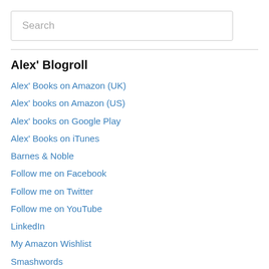Search
Alex' Blogroll
Alex' Books on Amazon (UK)
Alex' books on Amazon (US)
Alex' books on Google Play
Alex' Books on iTunes
Barnes & Noble
Follow me on Facebook
Follow me on Twitter
Follow me on YouTube
LinkedIn
My Amazon Wishlist
Smashwords